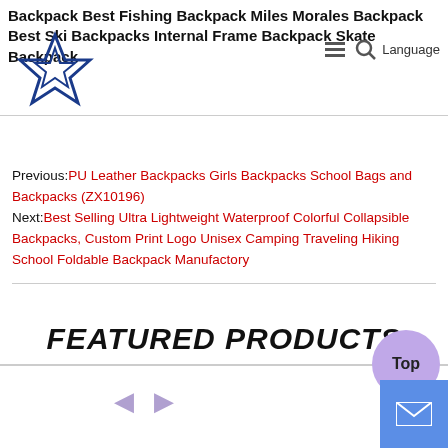Backpack Best Fishing Backpack Miles Morales Backpack Best Ski Backpacks Internal Frame Backpack Skate Backpack Language
Previous: PU Leather Backpacks Girls Backpacks School Bags and Backpacks (ZX10196)
Next: Best Selling Ultra Lightweight Waterproof Colorful Collapsible Backpacks, Custom Print Logo Unisex Camping Traveling Hiking School Foldable Backpack Manufactory
FEATURED PRODUCTS